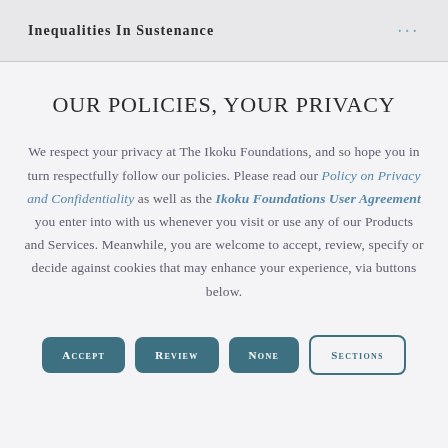Inequalities in Sustenance
OUR POLICIES, YOUR PRIVACY
We respect your privacy at The Ikoku Foundations, and so hope you in turn respectfully follow our policies. Please read our Policy on Privacy and Confidentiality as well as the Ikoku Foundations User Agreement you enter into with us whenever you visit or use any of our Products and Services. Meanwhile, you are welcome to accept, review, specify or decide against cookies that may enhance your experience, via buttons below.
ACCEPT
REVIEW
NONE
SECTIONS